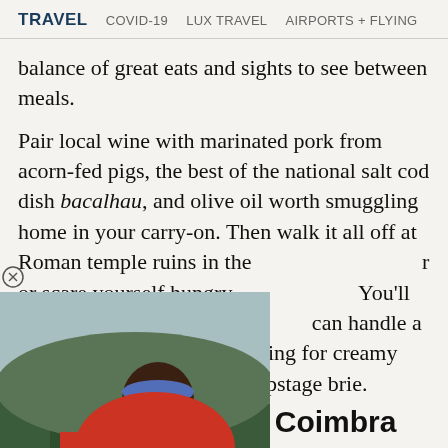TRAVEL   COVID-19   LUX TRAVEL   AIRPORTS + FLYING
balance of great eats and sights to see between meals.
Pair local wine with marinated pork from acorn-fed pigs, the best of the national salt cod dish bacalhau, and olive oil worth smuggling home in your carry-on. Then walk it all off at Roman temple ruins in the [image overlaps] or scare yourself hungry [image overlaps] You'll be happy as a clam [image overlaps] can handle a good dose of [image overlaps] ching for creamy European cheeses that can upstage brie.
[Figure (photo): A woman in a red shirt and blue headband sits outdoors with a forested mountain landscape behind her.]
For backpackers: Coimbra